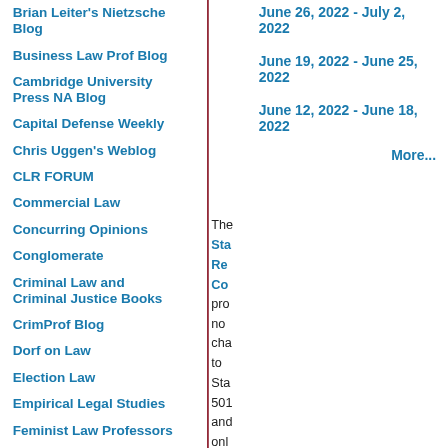Brian Leiter's Nietzsche Blog
Business Law Prof Blog
Cambridge University Press NA Blog
Capital Defense Weekly
Chris Uggen's Weblog
CLR FORUM
Commercial Law
Concurring Opinions
Conglomerate
Criminal Law and Criminal Justice Books
CrimProf Blog
Dorf on Law
Election Law
Empirical Legal Studies
Feminist Law Professors
First Amendment Law Prof
Gender & Sexuality Law Blog
June 26, 2022 - July 2, 2022
June 19, 2022 - June 25, 2022
June 12, 2022 - June 18, 2022
More...
The Stanford Law Review Complete pro no cha to Stanford 501 and only one cha to Into 501 3. The